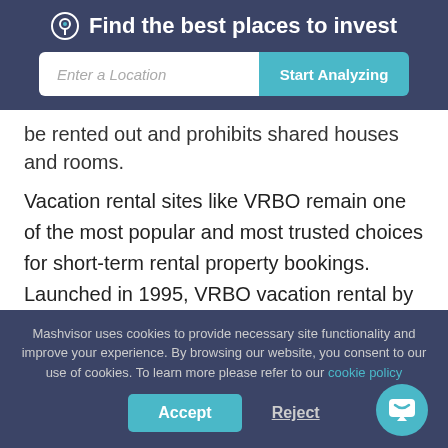Find the best places to invest
[Figure (screenshot): Search bar with 'Enter a Location' placeholder and 'Start Analyzing' button]
be rented out and prohibits shared houses and rooms.
Vacation rental sites like VRBO remain one of the most popular and most trusted choices for short-term rental property bookings. Launched in 1995, VRBO vacation rental by owner continues to pair homeowners with people looking for places to stay while on vacation. It is now considered a major global brand, with over two million
Mashvisor uses cookies to provide necessary site functionality and improve your experience. By browsing our website, you consent to our use of cookies. To learn more please refer to our cookie policy
Accept
Reject